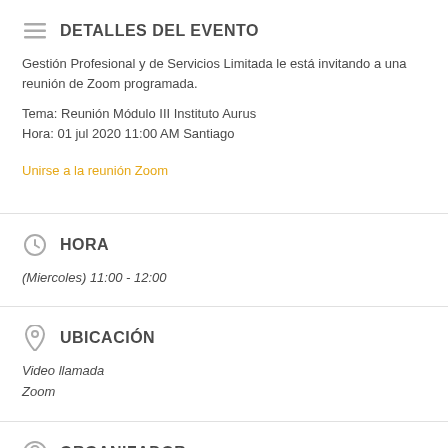DETALLES DEL EVENTO
Gestión Profesional y de Servicios Limitada le está invitando a una reunión de Zoom programada.
Tema: Reunión Módulo III Instituto Aurus
Hora: 01 jul 2020 11:00 AM Santiago
Unirse a la reunión Zoom
HORA
(Miercoles) 11:00 - 12:00
UBICACIÓN
Video llamada
Zoom
ORGANIZADOR